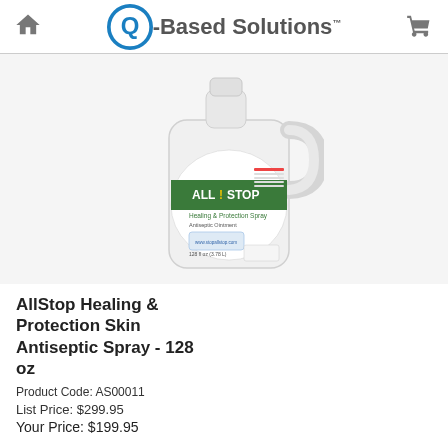Q-Based Solutions [home icon] [cart icon]
[Figure (photo): AllStop Healing & Protection Skin Antiseptic Spray 128 oz gallon jug with white body and green/white label showing the AllStop brand logo]
AllStop Healing & Protection Skin Antiseptic Spray - 128 oz
Product Code: AS00011
List Price: $299.95
Your Price: $199.95